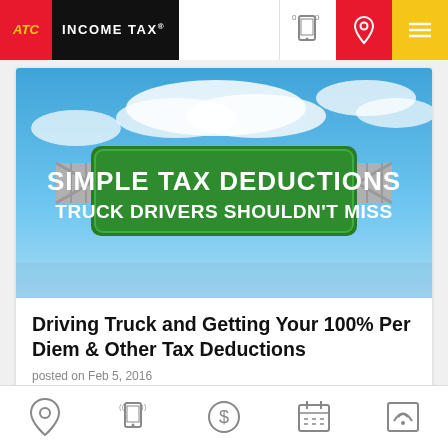[Figure (logo): ATC Income Tax logo with red background and black bar with white text]
[Figure (illustration): Banner image showing a highway road sign on a blue sky background with text: SIMPLE TAX DEDUCTIONS TRUCK DRIVERS SHOULDN'T MISS]
Driving Truck and Getting Your 100% Per Diem & Other Tax Deductions
posted on Feb 5, 2016
[Figure (infographic): Bottom navigation bar with icons: location pin, mobile phone with signal, dollar coin, calendar, wifi/signal icon]